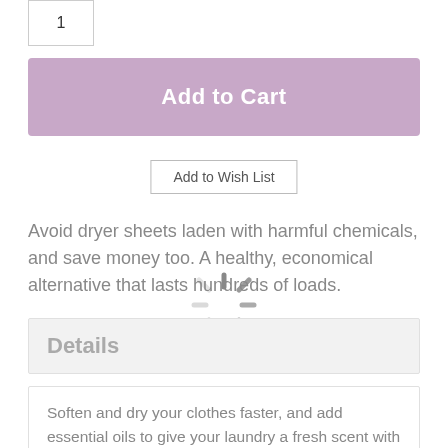[Figure (screenshot): Quantity input box showing number 1]
Add to Cart
Add to Wish List
Avoid dryer sheets laden with harmful chemicals, and save money too. A healthy, economical alternative that lasts hundreds of loads.
[Figure (other): Loading spinner graphic]
Details
Soften and dry your clothes faster, and add essential oils to give your laundry a fresh scent with this organic, New Zealand wool dryer ball. Because these dryer balls do not contain chemicals or synthetic fabric softeners, they are great for babies and those with sensitive skin. They can even be used with cloth diapers, microfiber cloths, and other fabrics that aren't supposed to be dried with dryer